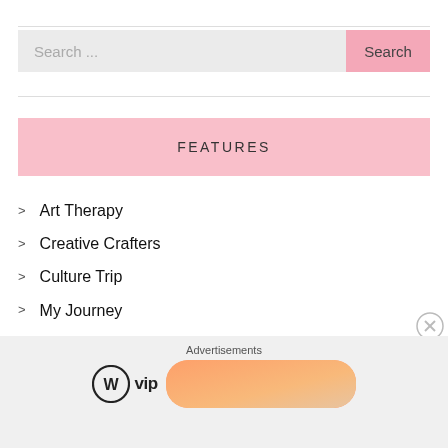[Figure (screenshot): Search bar with text 'Search ...' on left (gray background) and pink 'Search' button on right]
FEATURES
Art Therapy
Creative Crafters
Culture Trip
My Journey
Previews
Reviews
Theatre
[Figure (screenshot): Advertisement bar at bottom showing 'Advertisements', WordPress VIP logo, and a 'Learn more →' button on gradient background]